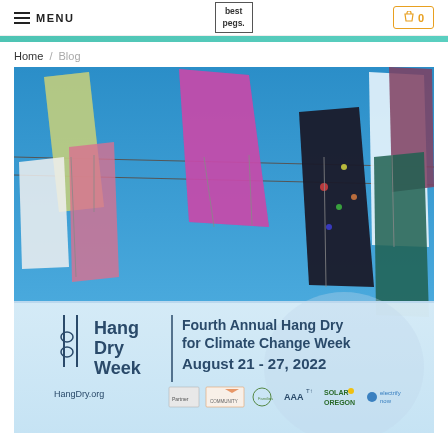MENU | best pegs. | 0
Home / Blog
[Figure (photo): Colorful clothing and fabrics hanging on a line against a bright blue sky, with an overlay banner reading 'Fourth Annual Hang Dry for Climate Change Week August 21 - 27, 2022' and the Hang Dry Week logo with partner organization logos at the bottom.]